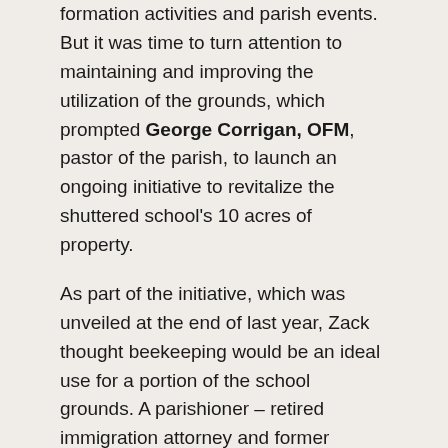formation activities and parish events. But it was time to turn attention to maintaining and improving the utilization of the grounds, which prompted George Corrigan, OFM, pastor of the parish, to launch an ongoing initiative to revitalize the shuttered school's 10 acres of property.
As part of the initiative, which was unveiled at the end of last year, Zack thought beekeeping would be an ideal use for a portion of the school grounds. A parishioner – retired immigration attorney and former beekeeper J. Michael Shea – got wind of Zack's idea